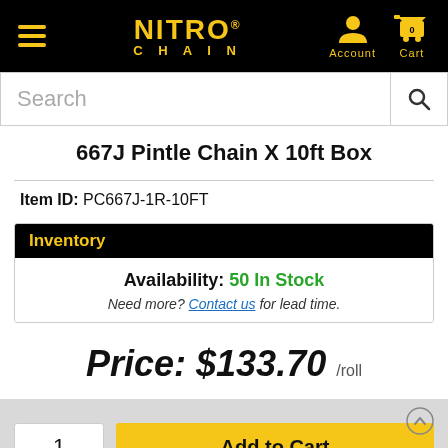NITRO® CHAIN — Navigation bar with hamburger menu, Account, Cart
Search
667J Pintle Chain X 10ft Box
Item ID: PC667J-1R-10FT
Inventory
Availability: 50 In Stock
Need more? Contact us for lead time.
Price: $133.70 /roll
1  Add to Cart